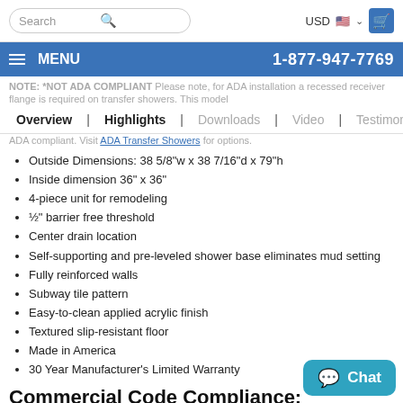Search | USD [flag] | [cart]
MENU | 1-877-947-7769
NOTE: *NOT ADA COMPLIANT Please note, for ADA installation a recessed receiver flange is required on transfer showers. This model does not include a recessed receiver flange and is therefore NOT ADA compliant. Visit ADA Transfer Showers for options.
Overview  Highlights  Downloads  Video  Testimonials
Outside Dimensions: 38 5/8"w x 38 7/16"d x 79"h
Inside dimension 36" x 36"
4-piece unit for remodeling
½" barrier free threshold
Center drain location
Self-supporting and pre-leveled shower base eliminates mud setting
Fully reinforced walls
Subway tile pattern
Easy-to-clean applied acrylic finish
Textured slip-resistant floor
Made in America
30 Year Manufacturer's Limited Warranty
Commercial Code Compliance:
IPC International Plumbing Code
UPC Uniform Plumbing Code